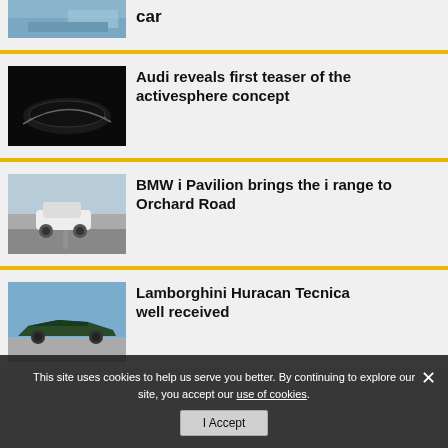[Figure (photo): Partial view of a light blue car from the rear]
car
[Figure (photo): Dark teaser image of a sports car silhouette, barely visible against black background]
Audi reveals first teaser of the activesphere concept
[Figure (photo): White BMW SUV driving on a road (Orchard Road) with barrier visible]
BMW i Pavilion brings the i range to Orchard Road
[Figure (photo): Dark green Lamborghini Huracan Tecnica on a wide open road under blue sky]
Lamborghini Huracan Tecnica well received
This site uses cookies to help us serve you better. By continuing to explore our site, you accept our use of cookies.
I Accept